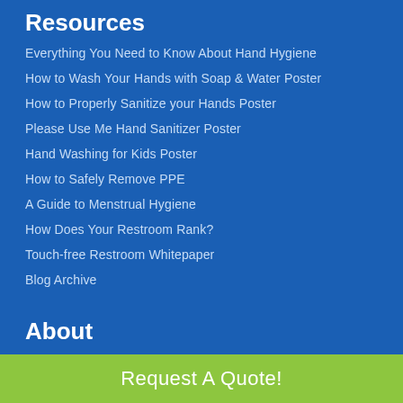Resources
Everything You Need to Know About Hand Hygiene
How to Wash Your Hands with Soap & Water Poster
How to Properly Sanitize your Hands Poster
Please Use Me Hand Sanitizer Poster
Hand Washing for Kids Poster
How to Safely Remove PPE
A Guide to Menstrual Hygiene
How Does Your Restroom Rank?
Touch-free Restroom Whitepaper
Blog Archive
About
Our Story
Request A Quote!